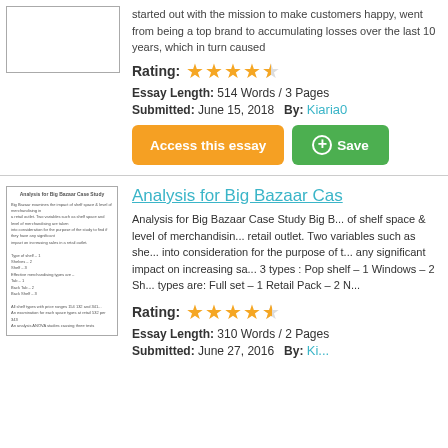started out with the mission to make customers happy, went from being a top brand to accumulating losses over the last 10 years, which in turn caused...
Rating: ★★★★½
Essay Length: 514 Words / 3 Pages
Submitted: June 15, 2018   By: Kiaria0
Access this essay | Save
Analysis for Big Bazaar Cas...
Analysis for Big Bazaar Case Study Big Bazaar... of shelf space & level of merchandising in retail outlet. Two variables such as she... into consideration for the purpose of t... any significant impact on increasing sa... 3 types : Pop shelf – 1 Windows – 2 Sh... types are: Full set – 1 Retail Pack – 2 N...
Rating: ★★★★½
Essay Length: 310 Words / 2 Pages
Submitted: June 27, 2016   By: Ki...